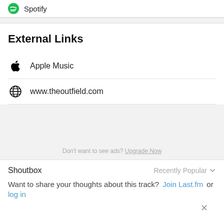Spotify
External Links
Apple Music
www.theoutfield.com
Don't want to see ads? Upgrade Now
Shoutbox
Recently Popular
Want to share your thoughts about this track? Join Last.fm or log in